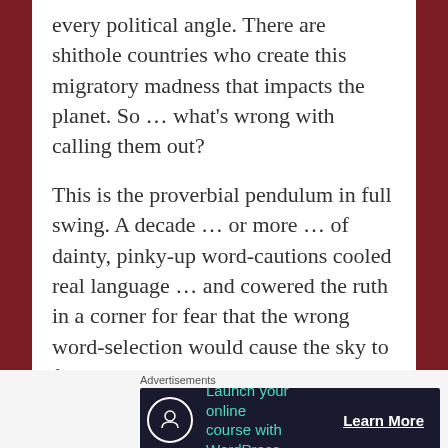every political angle. There are shithole countries who create this migratory madness that impacts the planet. So ... what's wrong with calling them out?
This is the proverbial pendulum in full swing. A decade ... or more ... of dainty, pinky-up word-cautions cooled real language ... and cowered the ruth in a corner for fear that the wrong word-selection would cause the sky to fall. And that's what some claim has happened.
No ... it has not
Advertisements
[Figure (other): Advertisement banner: Launch your online course with WordPress — Learn More]